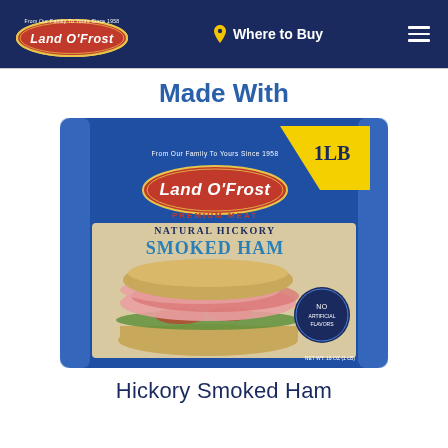Land O'Frost — Where to Buy
Made With
[Figure (photo): Land O'Frost Premium Meat Natural Hickory Smoked Ham 1LB package showing sliced ham on a sandwich with lettuce and tomato. Blue packaging with yellow 1LB badge. 'NO artificial flavors' badge visible. Text reads: From Our Family To Yours Since 1958, Land O'Frost, PREMIUM MEAT, NATURAL HICKORY SMOKED HAM, Lean | Water Added.]
Hickory Smoked Ham